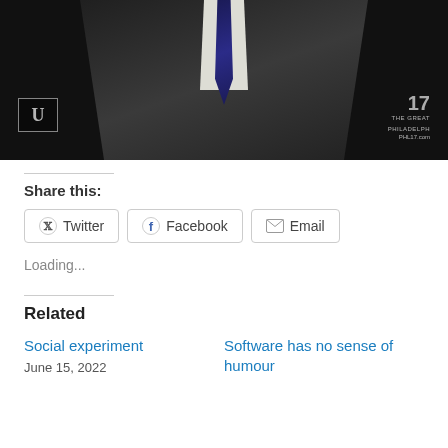[Figure (photo): Screenshot of a man in a dark suit with white shirt and dark tie, with a TV channel 17 watermark in the bottom right and a 'U' logo watermark in the bottom left]
Share this:
Twitter
Facebook
Email
Loading...
Related
Social experiment
June 15, 2022
Software has no sense of humour